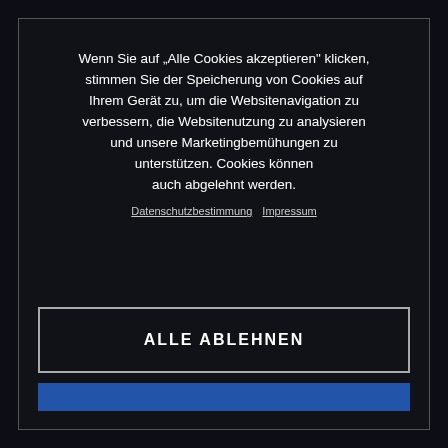20.06.2020
Wenn Sie auf „Alle Cookies akzeptieren" klicken, stimmen Sie der Speicherung von Cookies auf Ihrem Gerät zu, um die Websitenavigation zu verbessern, die Websitenutzung zu analysieren und unsere Marketingbemühungen zu unterstützen. Cookies können auch abgelehnt werden.
Datenschutzbestimmung  Impressum
ALLE ABLEHNEN